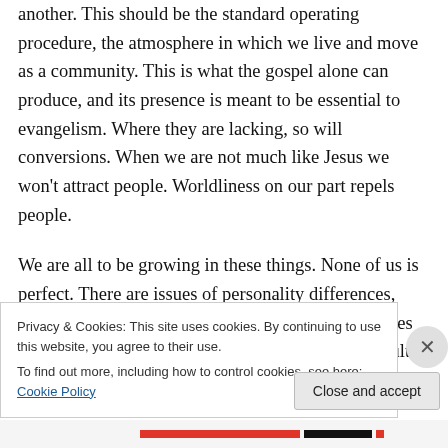another. This should be the standard operating procedure, the atmosphere in which we live and move as a community. This is what the gospel alone can produce, and its presence is meant to be essential to evangelism. Where they are lacking, so will conversions. When we are not much like Jesus we won't attract people. Worldliness on our part repels people.

We are all to be growing in these things. None of us is perfect. There are issues of personality differences, personal and corporate sin, differences in preferences and more that make these necessary but also difficult. Living
Privacy & Cookies: This site uses cookies. By continuing to use this website, you agree to their use.
To find out more, including how to control cookies, see here: Cookie Policy
Close and accept